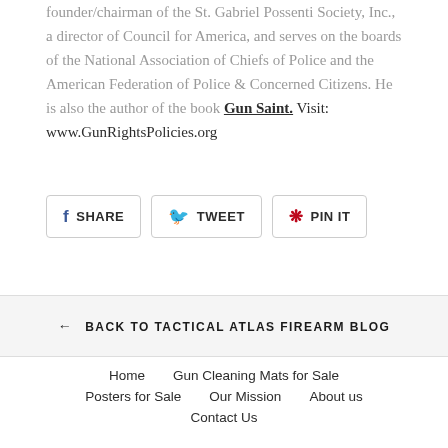founder/chairman of the St. Gabriel Possenti Society, Inc., a director of Council for America, and serves on the boards of the National Association of Chiefs of Police and the American Federation of Police & Concerned Citizens. He is also the author of the book Gun Saint. Visit: www.GunRightsPolicies.org
[Figure (other): Social share buttons: Facebook SHARE, Twitter TWEET, Pinterest PIN IT]
← BACK TO TACTICAL ATLAS FIREARM BLOG
Home
Gun Cleaning Mats for Sale
Posters for Sale
Our Mission
About us
Contact Us